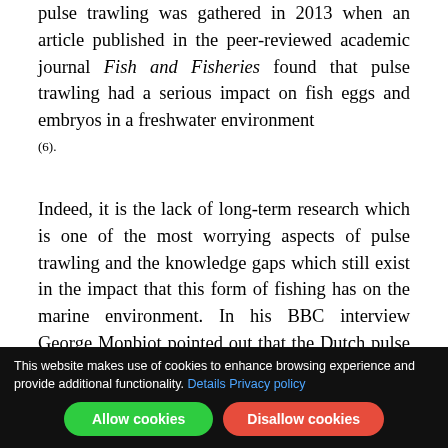pulse trawling was gathered in 2013 when an article published in the peer-reviewed academic journal Fish and Fisheries found that pulse trawling had a serious impact on fish eggs and embryos in a freshwater environment
(6).
Indeed, it is the lack of long-term research which is one of the most worrying aspects of pulse trawling and the knowledge gaps which still exist in the impact that this form of fishing has on the marine environment. In his BBC interview George Monbiot pointed out that the Dutch pulse trawling was more like a research as the...
This website makes use of cookies to enhance browsing experience and provide additional functionality. Details Privacy policy